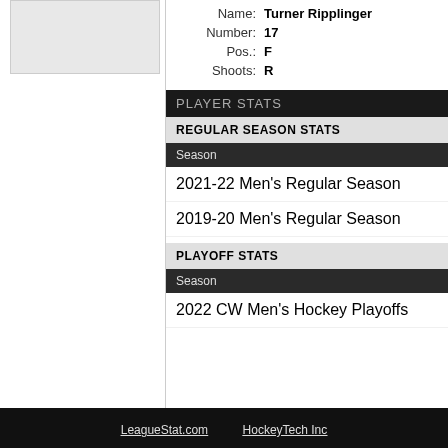[Figure (photo): Player photo placeholder box]
Name: Turner Ripplinger
Number: 17
Pos.: F
Shoots: R
PLAYER STATS
REGULAR SEASON STATS
| Season |
| --- |
| 2021-22 Men's Regular Season |
| 2019-20 Men's Regular Season |
PLAYOFF STATS
| Season |
| --- |
| 2022 CW Men's Hockey Playoffs |
LeagueStat.com   HockeyTech Inc